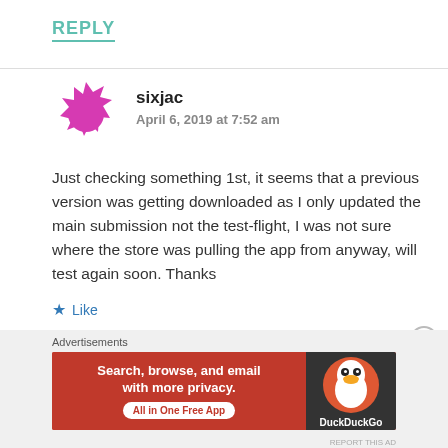REPLY
sixjac
April 6, 2019 at 7:52 am
Just checking something 1st, it seems that a previous version was getting downloaded as I only updated the main submission not the test-flight, I was not sure where the store was pulling the app from anyway, will test again soon. Thanks
Like
Advertisements
[Figure (infographic): DuckDuckGo advertisement banner: Search, browse, and email with more privacy. All in One Free App, with DuckDuckGo logo on dark background.]